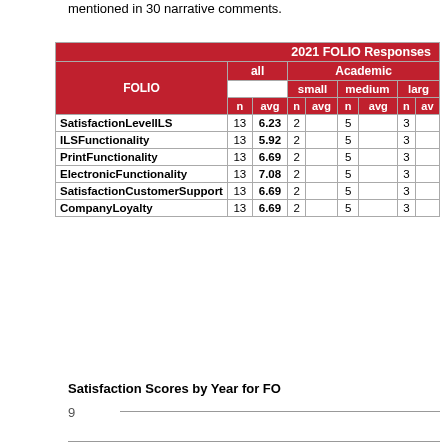mentioned in 30 narrative comments.
| FOLIO | all n | all avg | small n | small avg | medium n | medium avg | large n | large avg |
| --- | --- | --- | --- | --- | --- | --- | --- | --- |
| SatisfactionLevelILS | 13 | 6.23 | 2 |  | 5 |  | 3 |  |
| ILSFunctionality | 13 | 5.92 | 2 |  | 5 |  | 3 |  |
| PrintFunctionality | 13 | 6.69 | 2 |  | 5 |  | 3 |  |
| ElectronicFunctionality | 13 | 7.08 | 2 |  | 5 |  | 3 |  |
| SatisfactionCustomerSupport | 13 | 6.69 | 2 |  | 5 |  | 3 |  |
| CompanyLoyalty | 13 | 6.69 | 2 |  | 5 |  | 3 |  |
Satisfaction Scores by Year for FO
9